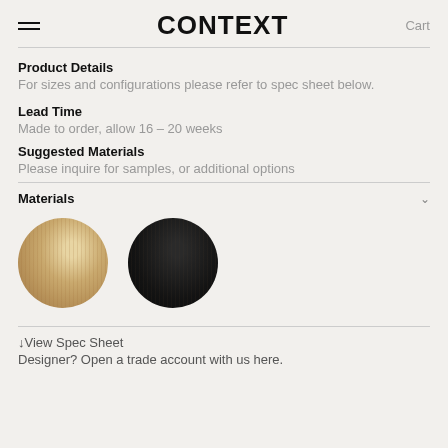CONTEXT  Cart
Product Details
For sizes and configurations please refer to spec sheet below.
Lead Time
Made to order, allow 16 – 20 weeks
Suggested Materials
Please inquire for samples, or additional options
Materials
[Figure (illustration): Two circular material swatches: left is a light wood grain texture (natural oak), right is a dark wood grain texture (ebonized/black).]
↓View Spec Sheet
Designer? Open a trade account with us here.